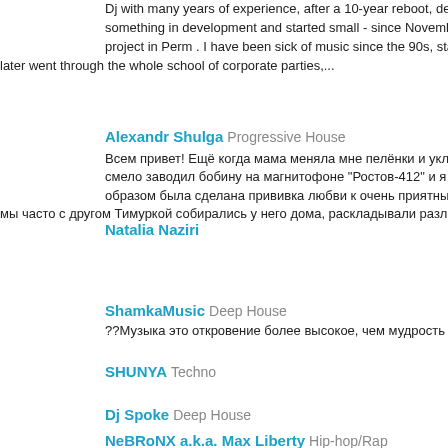Dj with many years of experience, after a 10-year reboot, decided that something in development and started small - since November 2021, one project in Perm . I have been sick of music since the 90s, started djing on, later went through the whole school of corporate parties,...
Alexandr Shulga Progressive House
Всем привет! Ещё когда мама меняла мне пелёнки и укладывала в к смело заводил бобину на магнитофоне "Ростов-412" и я засыпал под образом была сделана прививка любви к очень приятным звукам - м мы часто с другом Тимуркой собирались у него дома, раскладывали различн
Natalia Naziri
ShamkaMusic Deep House
??Музыка это откровение более высокое, чем мудрость и философи
SHUNYA Techno
Dj Spoke Deep House
NeBRoNX a.k.a. Max Liberty Hip-hop/Rap